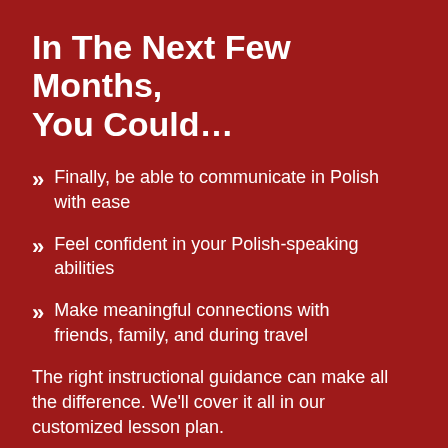In The Next Few Months, You Could…
Finally, be able to communicate in Polish with ease
Feel confident in your Polish-speaking abilities
Make meaningful connections with friends, family, and during travel
The right instructional guidance can make all the difference. We'll cover it all in our customized lesson plan.